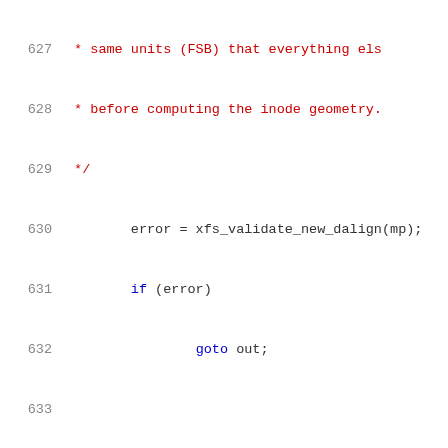Source code listing, lines 627-648, XFS filesystem mount code
627: * same units (FSB) that everything els
628: * before computing the inode geometry.
629: */
630: error = xfs_validate_new_dalign(mp);
631: if (error)
632: goto out;
633: (blank)
634: xfs_alloc_compute_maxlevels(mp);
635: xfs_bmap_compute_maxlevels(mp, XFS_DATA
636: xfs_bmap_compute_maxlevels(mp, XFS_ATTR
637: xfs_mount_setup_inode_geom(mp);
638: xfs_rmapbt_compute_maxlevels(mp);
639: xfs_refcountbt_compute_maxlevels(mp);
640: (blank)
641: /*
642: * Check if sb_agblocks is aligned at s
643: * is NOT aligned turn off m_dalign sin
644: * an ag, therefore ag has to be aligne
645: * we must compute the free space and r
646: * this.
647: */
648: error = xfs_update_alignment(mp);